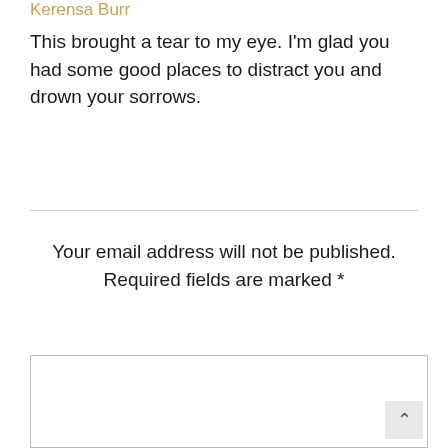Kerensa Burr
This brought a tear to my eye. I'm glad you had some good places to distract you and drown your sorrows.
Your email address will not be published. Required fields are marked *